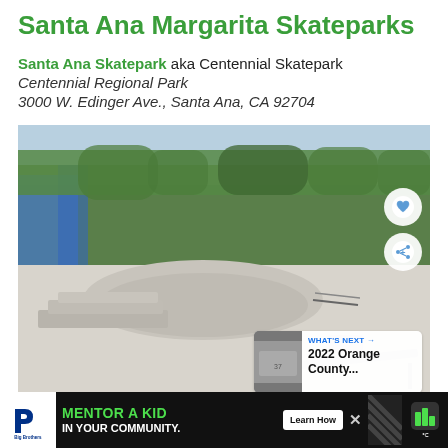Santa Ana Margarita Skateparks
Santa Ana Skatepark aka Centennial Skatepark
Centennial Regional Park
3000 W. Edinger Ave., Santa Ana, CA 92704
[Figure (photo): Photo of Santa Ana Centennial Skateboard Park showing concrete skate features, a skater standing on a rail, trees in background, with UI overlay buttons (heart/share) and a 'What's Next' card showing '2022 Orange County...']
Santa Ana Centennial Skateboard Park
[Figure (infographic): Advertisement banner: Big Brothers Big Sisters logo on left, green text 'MENTOR A KID IN YOUR COMMUNITY.' with 'Learn How' button, diagonal stripe pattern, close X button, and weather app icon on right]